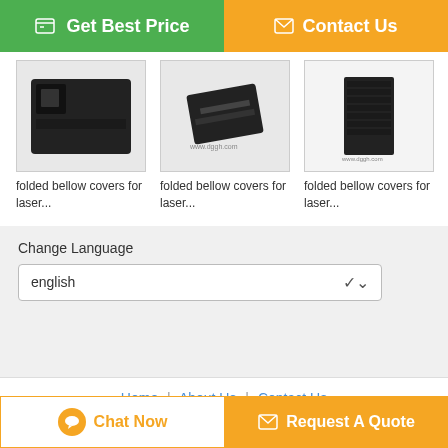[Figure (screenshot): Get Best Price button (green) and Contact Us button (orange) at the top]
[Figure (photo): Three product images of folded bellow covers for laser machines]
folded bellow covers for laser...
folded bellow covers for laser...
folded bellow covers for laser...
Change Language
english
Home | About Us | Contact Us
Desktop View
China folded bellow covers Supplier. Copyright © 2016 - 2022 winwinmascot.com. All rights reserved. Developed by ECER
[Figure (screenshot): Chat Now button and Request A Quote button at the bottom]